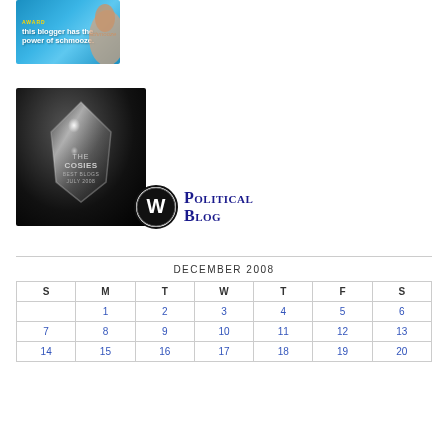[Figure (illustration): Schmooze Award banner: blue background with text 'this blogger has the power of schmooze.' and an arm/fist graphic]
[Figure (photo): The Cosies Best Blogs July 2008 crystal award trophy on dark background]
[Figure (logo): WordPress logo circle with 'Political Blog' text in navy small-caps serif font]
| S | M | T | W | T | F | S |
| --- | --- | --- | --- | --- | --- | --- |
|  | 1 | 2 | 3 | 4 | 5 | 6 |
| 7 | 8 | 9 | 10 | 11 | 12 | 13 |
| 14 | 15 | 16 | 17 | 18 | 19 | 20 |